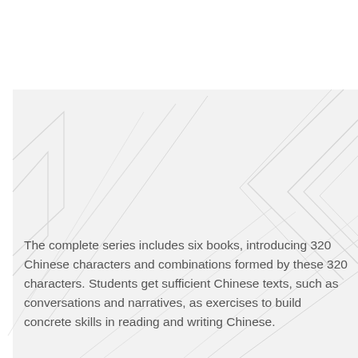[Figure (illustration): Light gray decorative background with overlapping angular chevron/arrow shapes forming a subtle geometric pattern on a light gray panel.]
The complete series includes six books, introducing 320 Chinese characters and combinations formed by these 320 characters. Students get sufficient Chinese texts, such as conversations and narratives, as exercises to build concrete skills in reading and writing Chinese.